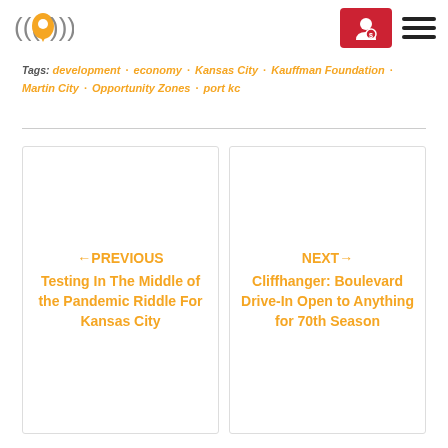Logo and navigation header
Tags: development · economy · Kansas City · Kauffman Foundation · Martin City · Opportunity Zones · port kc
←PREVIOUS Testing In The Middle of the Pandemic Riddle For Kansas City
NEXT→ Cliffhanger: Boulevard Drive-In Open to Anything for 70th Season